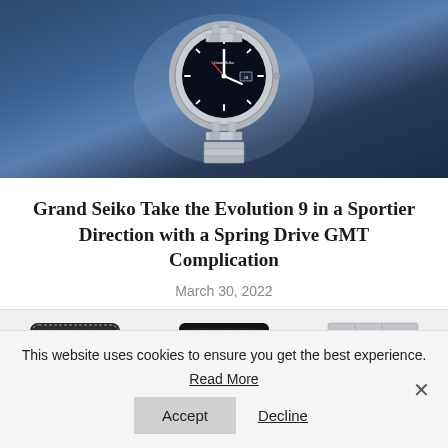[Figure (photo): Grand Seiko watch with black dial, GMT bezel, stainless steel bracelet on a dark blue atmospheric background]
Grand Seiko Take the Evolution 9 in a Sportier Direction with a Spring Drive GMT Complication
March 30, 2022
[Figure (photo): Three watch straps/bracelets shown side by side: dark alligator leather strap, black alligator leather strap, and stainless steel bracelet]
This website uses cookies to ensure you get the best experience.
Read More
Accept
Decline